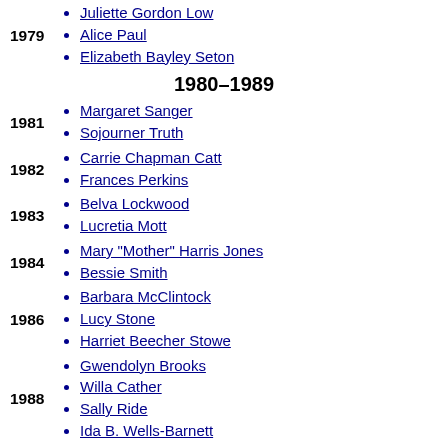Juliette Gordon Low
1979
Alice Paul
Elizabeth Bayley Seton
1980–1989
Margaret Sanger
1981
Sojourner Truth
Carrie Chapman Catt
1982
Frances Perkins
Belva Lockwood
1983
Lucretia Mott
Mary "Mother" Harris Jones
1984
Bessie Smith
Barbara McClintock
Lucy Stone
1986
Harriet Beecher Stowe
Gwendolyn Brooks
Willa Cather
Sally Ride
1988
Ida B. Wells-Barnett